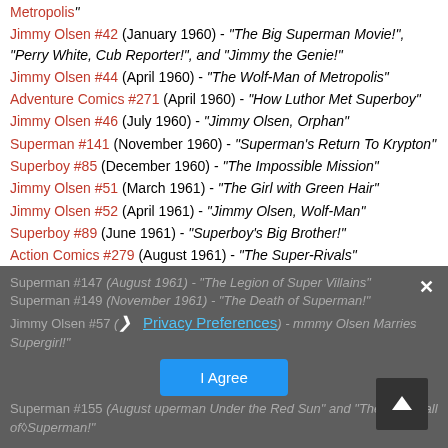[truncated top] Metropolis"
Jimmy Olsen #42 (January 1960) - "The Big Superman Movie!", "Perry White, Cub Reporter!", and "Jimmy the Genie!"
Jimmy Olsen #44 (April 1960) - "The Wolf-Man of Metropolis"
Adventure Comics #271 (April 1960) - "How Luthor Met Superboy"
Jimmy Olsen #46 (July 1960) - "Jimmy Olsen, Orphan"
Superman #141 (November 1960) - "Superman's Return To Krypton"
Superboy #85 (December 1960) - "The Impossible Mission"
Jimmy Olsen #51 (March 1961) - "The Girl with Green Hair"
Jimmy Olsen #52 (April 1961) - "Jimmy Olsen, Wolf-Man"
Superboy #89 (June 1961) - "Superboy's Big Brother!"
Action Comics #279 (August 1961) - "The Super-Rivals"
Superman #147 (August 1961) - "The Legion of Super Villains"
Superman #149 (November 1961) - "The Death of Superman!"
Jimmy Olsen #57 (...) - "Jimmy Olsen Marries Supergirl!"
Superman #155 (August ...) - "Superman Under the Red Sun" and "The Downfall of Superman"